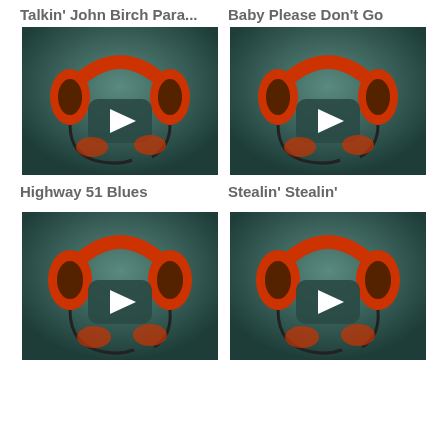Talkin' John Birch Para...
Baby Please Don't Go
[Figure (illustration): Music player thumbnail with headphones icon and play button on teal background]
[Figure (illustration): Music player thumbnail with headphones icon and play button on teal background]
Highway 51 Blues
Stealin' Stealin'
[Figure (illustration): Music player thumbnail with headphones icon and play button on teal background]
[Figure (illustration): Music player thumbnail with headphones icon and play button on teal background]